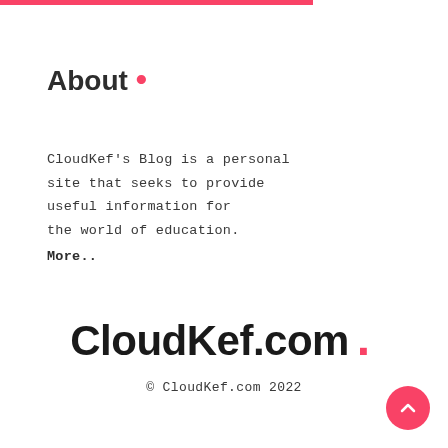About .
CloudKef's Blog is a personal site that seeks to provide useful information for the world of education. More..
CloudKef.com .
© CloudKef.com 2022